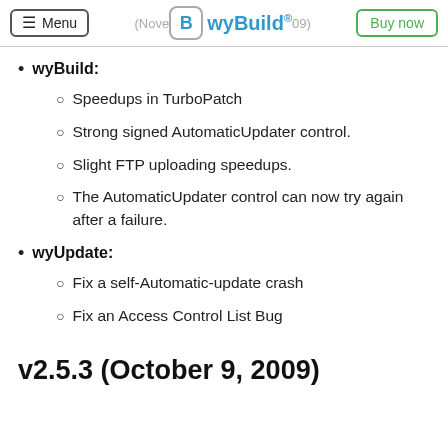Menu | wyBuild® (November 10, 2009) | Buy now
wyBuild:
Speedups in TurboPatch
Strong signed AutomaticUpdater control.
Slight FTP uploading speedups.
The AutomaticUpdater control can now try again after a failure.
wyUpdate:
Fix a self-Automatic-update crash
Fix an Access Control List Bug
v2.5.3 (October 9, 2009)